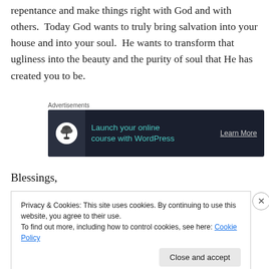repentance and make things right with God and with others.  Today God wants to truly bring salvation into your house and into your soul.  He wants to transform that ugliness into the beauty and the purity of soul that He has created you to be.
[Figure (other): Advertisement banner with dark background showing a bonsai tree icon and text 'Launch your online course with WordPress' with a 'Learn More' button]
Blessings,
Privacy & Cookies: This site uses cookies. By continuing to use this website, you agree to their use.
To find out more, including how to control cookies, see here: Cookie Policy